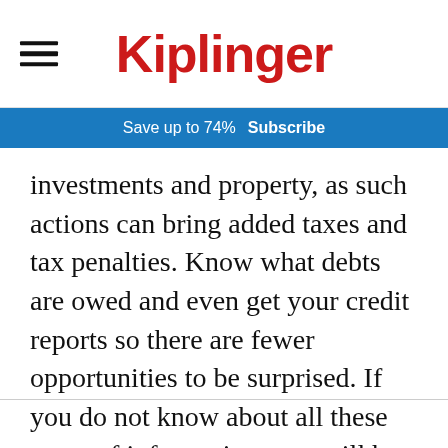Kiplinger
Save up to 74%  Subscribe
investments and property, as such actions can bring added taxes and tax penalties. Know what debts are owed and even get your credit reports so there are fewer opportunities to be surprised. If you do not know about all these types of information, you will be at a disadvantage.